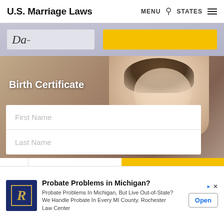U.S. Marriage Laws   MENU   STATES
[Figure (screenshot): Partial form with 'Da-' handwritten text and yellow button strip, gray-blue background]
[Figure (photo): Baby/newborn photo background with Birth Certificate label overlay and form fields for First Name, Last Name, State dropdown, and Go button]
[Figure (screenshot): Advertisement banner: Probate Problems in Michigan? - Probate Problems In Michigan, But Live Out-of-State? We Handle Probate In Every MI County. Rochester Law Center. Open button.]